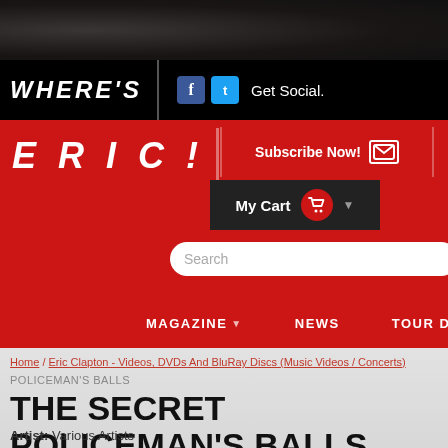WHERE'S
Get Social.
ERIC!
Subscribe Now!
My Cart
Search
MAGAZINE NEWS TOUR DA
Home / Eric Clapton - Videos, DVDs And BluRay Discs (Music Videos / Concerts)
POLICEMAN'S BALLS
THE SECRET POLICEMAN'S BALLS
Artist: Various Artists
Studio: Shout Factory